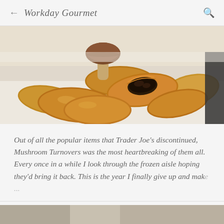← Workday Gourmet 🔍
[Figure (photo): Golden baked mushroom turnovers/pastries piled together, with one split open showing a dark mushroom filling, and a whole mushroom visible in the background on a white surface.]
Out of all the popular items that Trader Joe's discontinued, Mushroom Turnovers was the most heartbreaking of them all. Every once in a while I look through the frozen aisle hoping they'd bring it back. This is the year I finally give up and make ...